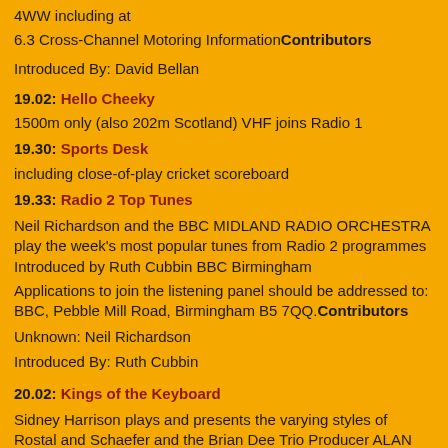4WW including at
6.3 Cross-Channel Motoring InformationContributors
Introduced By: David Bellan
19.02: Hello Cheeky
1500m only (also 202m Scotland) VHF joins Radio 1
19.30: Sports Desk
including close-of-play cricket scoreboard
19.33: Radio 2 Top Tunes
Neil Richardson and the BBC MIDLAND RADIO ORCHESTRA play the week's most popular tunes from Radio 2 programmes Introduced by Ruth Cubbin BBC Birmingham
Applications to join the listening panel should be addressed to: BBC, Pebble Mill Road, Birmingham B5 7QQ.Contributors
Unknown: Neil Richardson
Introduced By: Ruth Cubbin
20.02: Kings of the Keyboard
Sidney Harrison plays and presents the varying styles of Rostal and Schaefer and the Brian Dee Trio Producer ALAN OWENContributors
Unknown: Sidney Harrison
Unknown: Brian Dee Trio